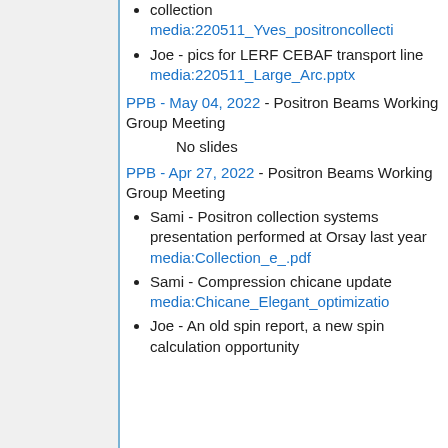collection media:220511_Yves_positroncollecti...
Joe - pics for LERF CEBAF transport line media:220511_Large_Arc.pptx
PPB - May 04, 2022 - Positron Beams Working Group Meeting
No slides
PPB - Apr 27, 2022 - Positron Beams Working Group Meeting
Sami - Positron collection systems presentation performed at Orsay last year media:Collection_e_.pdf
Sami - Compression chicane update media:Chicane_Elegant_optimizatio...
Joe - An old spin report, a new spin calculation opportunity